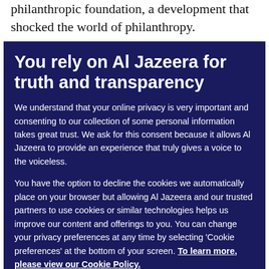philanthropic foundation, a development that shocked the world of philanthropy.
You rely on Al Jazeera for truth and transparency
We understand that your online privacy is very important and consenting to our collection of some personal information takes great trust. We ask for this consent because it allows Al Jazeera to provide an experience that truly gives a voice to the voiceless.
You have the option to decline the cookies we automatically place on your browser but allowing Al Jazeera and our trusted partners to use cookies or similar technologies helps us improve our content and offerings to you. You can change your privacy preferences at any time by selecting 'Cookie preferences' at the bottom of your screen. To learn more, please view our Cookie Policy.